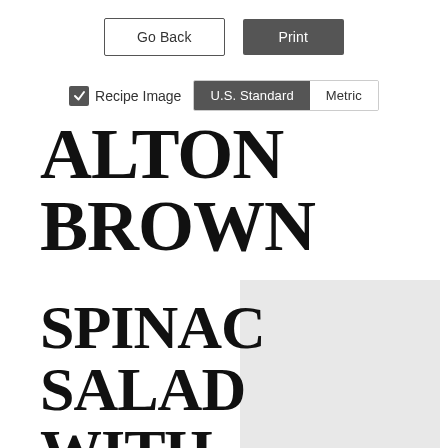Go Back | Print
Recipe Image  U.S. Standard  Metric
ALTON BROWN
SPINACH SALAD WITH WARM BACON
[Figure (photo): Recipe image placeholder - light gray rectangle]